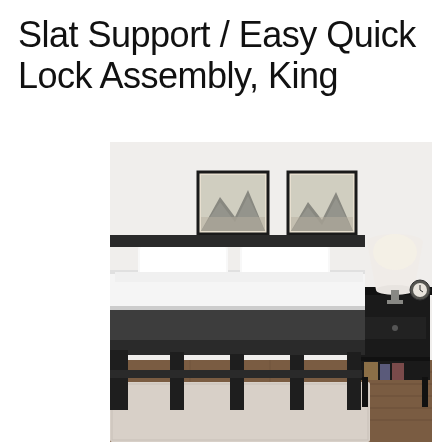Slat Support / Easy Quick Lock Assembly, King
[Figure (photo): Product photo of a black metal platform bed frame with white mattress and pillows, a dark wooden nightstand with a white lamp and small clock, and two framed black-and-white landscape photographs on the white wall behind the bed. Bed is on a light-colored area rug over dark hardwood flooring.]